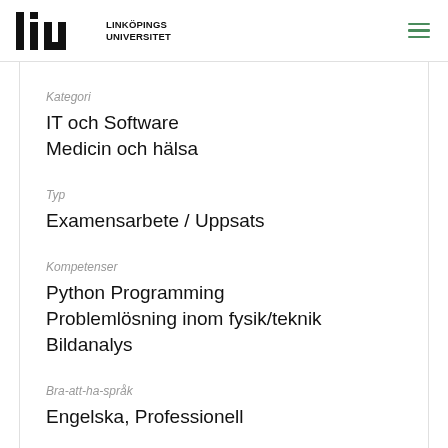Linköpings Universitet
Kategori
IT och Software
Medicin och hälsa
Typ
Examensarbete / Uppsats
Kompetenser
Python Programming
Problemlösning inom fysik/teknik
Bildanalys
Bra-att-ha-språk
Engelska, Professionell